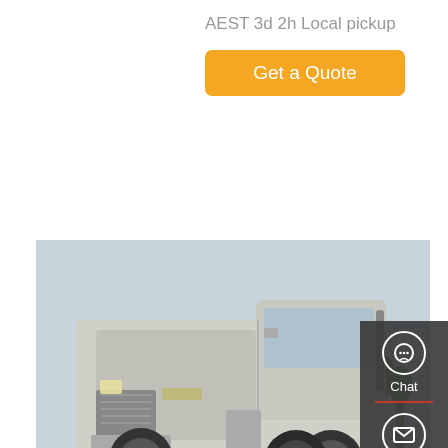AEST 3d 2h Local pickup
Get a Quote
[Figure (photo): Silver FAW heavy duty tractor truck parked outdoors, side/front angle view, with trees in background]
Used New FAW Xindawei Truck Spare Parts Wd615 Weichai …
FAW Xindawei Truck Spare Parts Wd615 Weichai Diesel Engine. We can provide you second hand tour bus, city bus, used coach bus, second hand dumper trucks, tractor truck, cargo truck and other special
[Figure (infographic): Side panel with Chat, Email, Contact, and Top navigation icons on dark grey background]